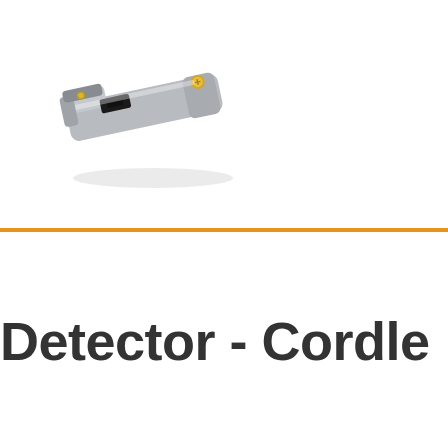[Figure (photo): A small metal tool/device resembling a wire stripper or stud detector, silver/chrome colored with a gold screw and dark blade, photographed at an angle on white background]
Detector - Cordle